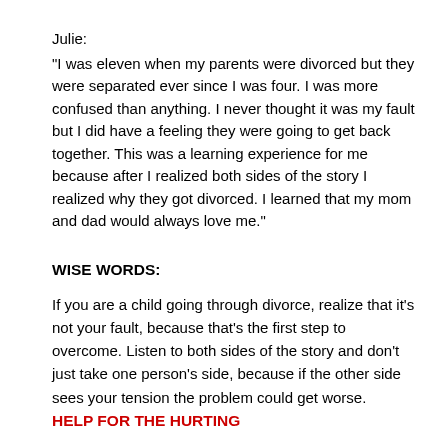Julie:
"I was eleven when my parents were divorced but they were separated ever since I was four. I was more confused than anything. I never thought it was my fault but I did have a feeling they were going to get back together. This was a learning experience for me because after I realized both sides of the story I realized why they got divorced. I learned that my mom and dad would always love me."
WISE WORDS:
If you are a child going through divorce, realize that it's not your fault, because that's the first step to overcome. Listen to both sides of the story and don't just take one person's side, because if the other side sees your tension the problem could get worse.
HELP FOR THE HURTING